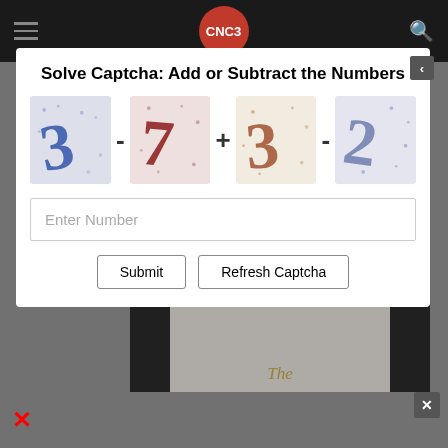CNC3
Solve Captcha: Add or Subtract the Numbers
[Figure (screenshot): CAPTCHA widget showing four distorted digit images with operators: 3 - 7 + 3 - 2, with an Enter Number input field and Submit / Refresh Captcha buttons]
[Figure (photo): Dark background with a white rectangular card partially visible at bottom, with text 'The' visible in gold/yellow italic font]